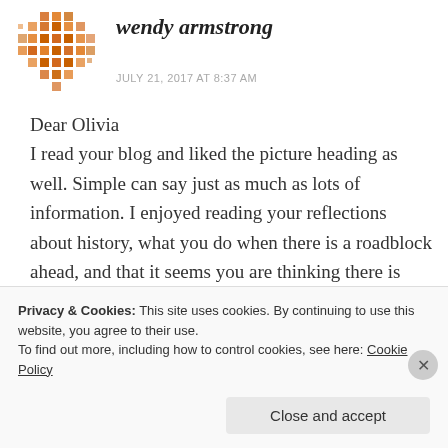[Figure (illustration): Orange pixel/mosaic avatar icon for user wendy armstrong]
wendy armstrong
JULY 21, 2017 AT 8:37 AM
Dear Olivia
I read your blog and liked the picture heading as well. Simple can say just as much as lots of information. I enjoyed reading your reflections about history, what you do when there is a roadblock ahead, and that it seems you are thinking there is more to commerce and business. I
Privacy & Cookies: This site uses cookies. By continuing to use this website, you agree to their use.
To find out more, including how to control cookies, see here: Cookie Policy
Close and accept